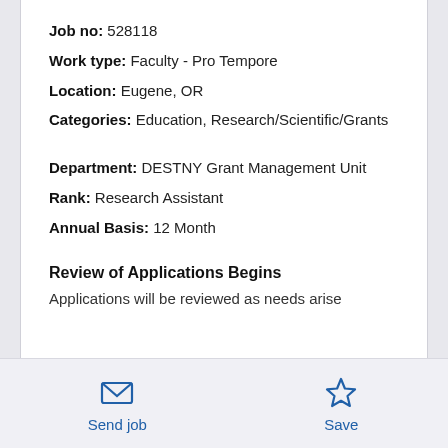Job no: 528118
Work type: Faculty - Pro Tempore
Location: Eugene, OR
Categories: Education, Research/Scientific/Grants
Department: DESTNY Grant Management Unit
Rank: Research Assistant
Annual Basis: 12 Month
Review of Applications Begins
Applications will be reviewed as needs arise